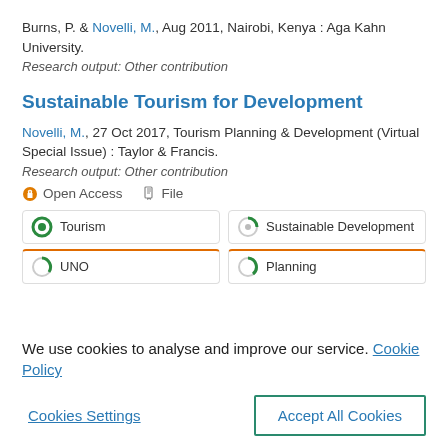Burns, P. & Novelli, M., Aug 2011, Nairobi, Kenya : Aga Kahn University.
Research output: Other contribution
Sustainable Tourism for Development
Novelli, M., 27 Oct 2017, Tourism Planning & Development (Virtual Special Issue) : Taylor & Francis.
Research output: Other contribution
Open Access   File
Tourism | Sustainable Development | UNO | Planning
We use cookies to analyse and improve our service. Cookie Policy
Cookies Settings
Accept All Cookies